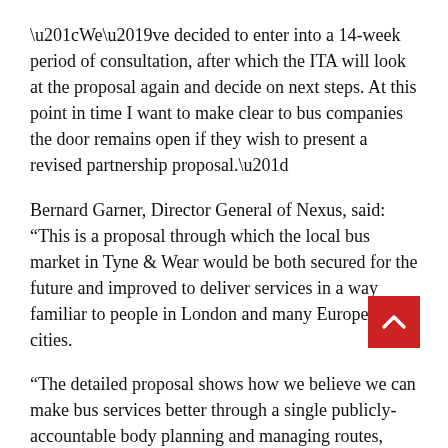“We’ve decided to enter into a 14-week period of consultation, after which the ITA will look at the proposal again and decide on next steps. At this point in time I want to make clear to bus companies the door remains open if they wish to present a revised partnership proposal.”
Bernard Garner, Director General of Nexus, said: “This is a proposal through which the local bus market in Tyne & Wear would be both secured for the future and improved to deliver services in a way familiar to people in London and many European cities.
“The detailed proposal shows how we believe we can make bus services better through a single publicly-accountable body planning and managing routes, setting and collecting all fares, and re-investing a greater proportion of the profit generated.
“This offers a way to maintain and improve bus services